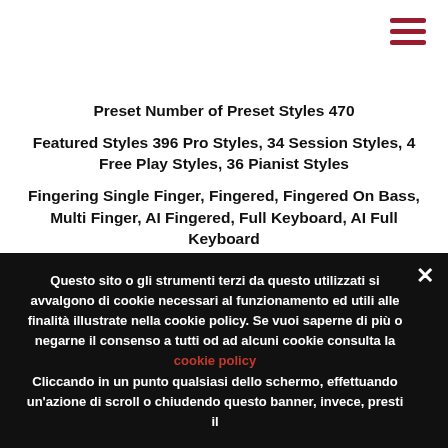[Figure (other): Hamburger menu icon (three horizontal dark red lines) in top-right corner]
Preset Number of Preset Styles 470
Featured Styles 396 Pro Styles, 34 Session Styles, 4 Free Play Styles, 36 Pianist Styles
Fingering Single Finger, Fingered, Fingered On Bass, Multi Finger, AI Fingered, Full Keyboard, AI Full Keyboard
Style Control INTRO x 3, MAIN VARIATION x 4, FILL x 4, BREAK, ENDING x 3
Custom Style Creator Yes
Other Features Music Finder 2,500 Records
One Touch Setting (OTS) 4 for each Style
Questo sito o gli strumenti terzi da questo utilizzati si avvalgono di cookie necessari al funzionamento ed utili alle finalità illustrate nella cookie policy. Se vuoi saperne di più o negarne il consenso a tutti od ad alcuni cookie consulta la cookie policy
Cliccando in un punto qualsiasi dello schermo, effettuando un'azione di scroll o chiudendo questo banner, invece, presti il